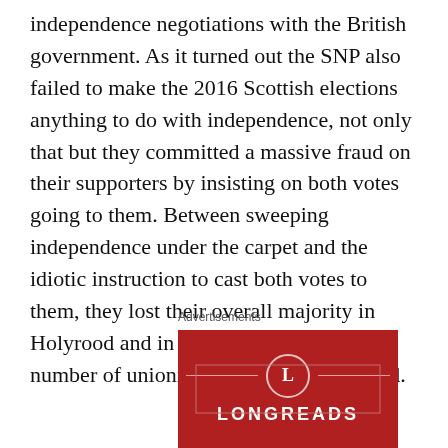independence negotiations with the British government. As it turned out the SNP also failed to make the 2016 Scottish elections anything to do with independence, not only that but they committed a massive fraud on their supporters by insisting on both votes going to them. Between sweeping independence under the carpet and the idiotic instruction to cast both votes to them, they lost their overall majority in Holyrood and in effect facilitated a large number of unionist members to be elected.
Advertisements
[Figure (logo): Longreads advertisement banner with red background, circular L logo and decorative lines]